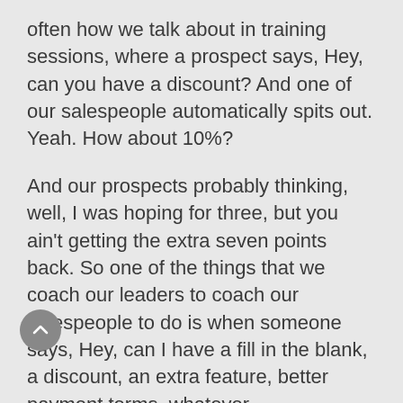often how we talk about in training sessions, where a prospect says, Hey, can you have a discount? And one of our salespeople automatically spits out. Yeah. How about 10%?
And our prospects probably thinking, well, I was hoping for three, but you ain't getting the extra seven points back. So one of the things that we coach our leaders to coach our salespeople to do is when someone says, Hey, can I have a fill in the blank, a discount, an extra feature, better payment terms, whatever.
All we say back to them is sure. What were you thinking? And in fact, very early on in my career in Sandler, uh, I closed a client who ended up paying me significantly more than I thought they